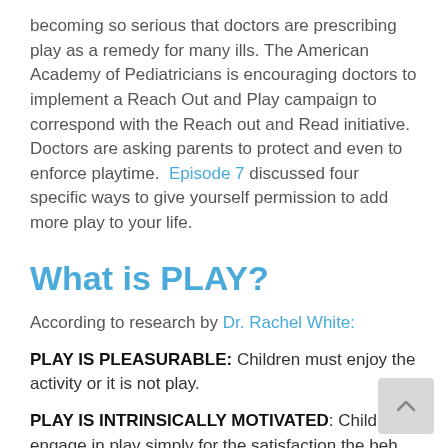becoming so serious that doctors are prescribing play as a remedy for many ills. The American Academy of Pediatricians is encouraging doctors to implement a Reach Out and Play campaign to correspond with the Reach out and Read initiative. Doctors are asking parents to protect and even to enforce playtime. Episode 7 discussed four specific ways to give yourself permission to add more play to your life.
What is PLAY?
According to research by Dr. Rachel White:
PLAY IS PLEASURABLE: Children must enjoy the activity or it is not play.
PLAY IS INTRINSICALLY MOTIVATED: Children engage in play simply for the satisfaction the beh... itself brings. It has no extrinsically motivated function...